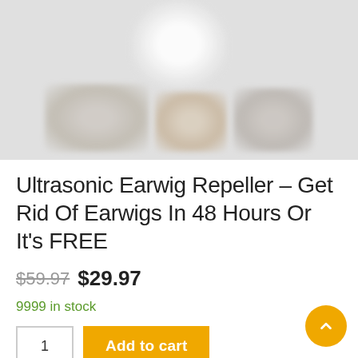[Figure (photo): Blurred product image showing ultrasonic repeller devices against a light grey background]
Ultrasonic Earwig Repeller – Get Rid Of Earwigs In 48 Hours Or It's FREE
$59.97 $29.97
9999 in stock
Add to cart